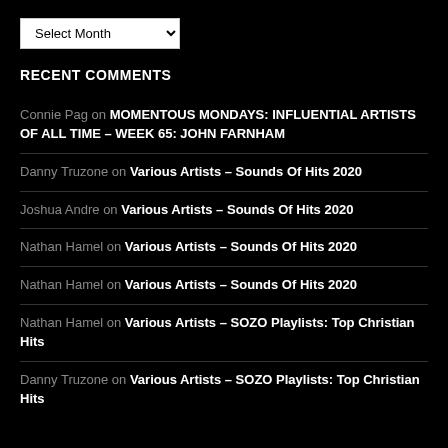Select Month (dropdown)
RECENT COMMENTS
Connie Pag on MOMENTOUS MONDAYS: INFLUENTIAL ARTISTS OF ALL TIME – WEEK 65: JOHN FARNHAM
Danny Truzone on Various Artists – Sounds Of Hits 2020
Joshua Andre on Various Artists – Sounds Of Hits 2020
Nathan Hamel on Various Artists – Sounds Of Hits 2020
Nathan Hamel on Various Artists – Sounds Of Hits 2020
Nathan Hamel on Various Artists – SOZO Playlists: Top Christian Hits
Danny Truzone on Various Artists – SOZO Playlists: Top Christian Hits